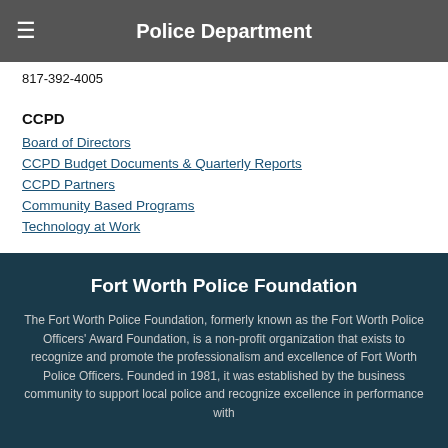Police Department
817-392-4005
CCPD
Board of Directors
CCPD Budget Documents & Quarterly Reports
CCPD Partners
Community Based Programs
Technology at Work
Fort Worth Police Foundation
The Fort Worth Police Foundation, formerly known as the Fort Worth Police Officers' Award Foundation, is a non-profit organization that exists to recognize and promote the professionalism and excellence of Fort Worth Police Officers. Founded in 1981, it was established by the business community to support local police and recognize excellence in performance with